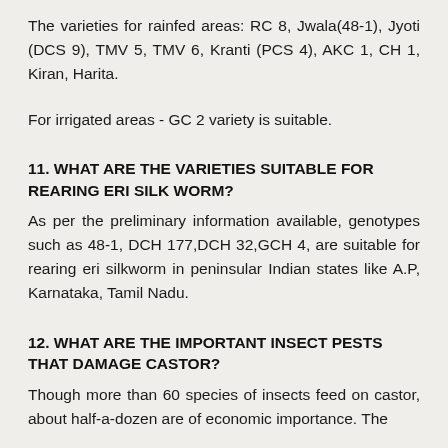The varieties for rainfed areas: RC 8, Jwala(48-1), Jyoti (DCS 9), TMV 5, TMV 6, Kranti (PCS 4), AKC 1, CH 1, Kiran, Harita.
For irrigated areas - GC 2 variety is suitable.
11. WHAT ARE THE VARIETIES SUITABLE FOR REARING ERI SILK WORM?
As per the preliminary information available, genotypes such as 48-1, DCH 177,DCH 32,GCH 4, are suitable for rearing eri silkworm in peninsular Indian states like A.P, Karnataka, Tamil Nadu.
12. WHAT ARE THE IMPORTANT INSECT PESTS THAT DAMAGE CASTOR?
Though more than 60 species of insects feed on castor, about half-a-dozen are of economic importance. The